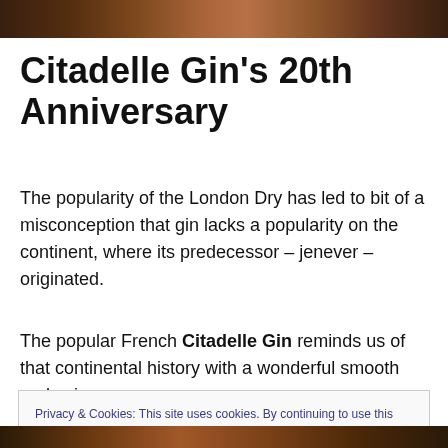[Figure (photo): Top banner photo showing decorative background, dark warm tones]
Citadelle Gin's 20th Anniversary
The popularity of the London Dry has led to bit of a misconception that gin lacks a popularity on the continent, where its predecessor – jenever – originated.
The popular French Citadelle Gin reminds us of that continental history with a wonderful smooth and spicy
Privacy & Cookies: This site uses cookies. By continuing to use this website, you agree to their use.
To find out more, including how to control cookies, see here: Cookie Policy
[Figure (photo): Bottom banner photo showing decorative background, dark warm tones]